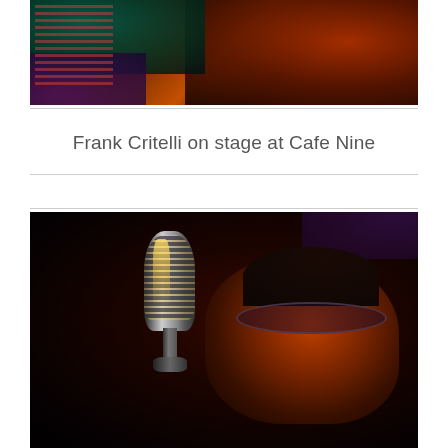[Figure (photo): Close-up photograph of a performer on stage at Cafe Nine, showing a guitar with decorative elements under teal and red stage lighting against a dark background]
Frank Critelli on stage at Cafe Nine
[Figure (photo): Photograph of Frank Critelli performing on stage, shown in profile next to a vintage chrome microphone, lit dramatically with red and dark lighting, wearing sunglasses]